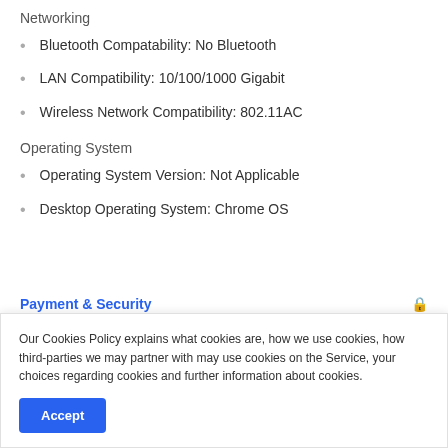Networking
Bluetooth Compatability: No Bluetooth
LAN Compatibility: 10/100/1000 Gigabit
Wireless Network Compatibility: 802.11AC
Operating System
Operating System Version: Not Applicable
Desktop Operating System: Chrome OS
Payment & Security
Our Cookies Policy explains what cookies are, how we use cookies, how third-parties we may partner with may use cookies on the Service, your choices regarding cookies and further information about cookies.
Accept
store credit card details nor have access to your credit card